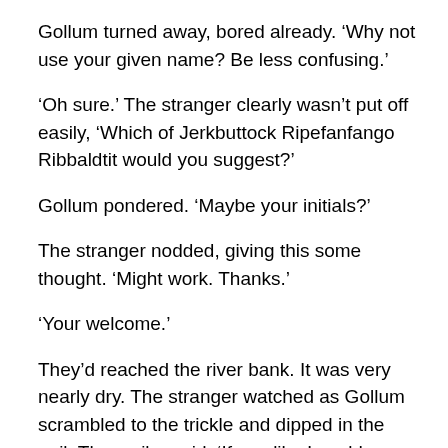Gollum turned away, bored already. ‘Why not use your given name? Be less confusing.’
‘Oh sure.’ The stranger clearly wasn’t put off easily, ‘Which of Jerkbuttock Ripefanfango Ribbaldtit would you suggest?’
Gollum pondered. ‘Maybe your initials?’
The stranger nodded, giving this some thought. ‘Might work. Thanks.’
‘Your welcome.’
They’d reached the river bank. It was very nearly dry. The stranger watched as Gollum scrambled to the trickle and dipped in the pail. The scribe said, ‘If you like I could include you in one of my stories. Make you famous. Sort of